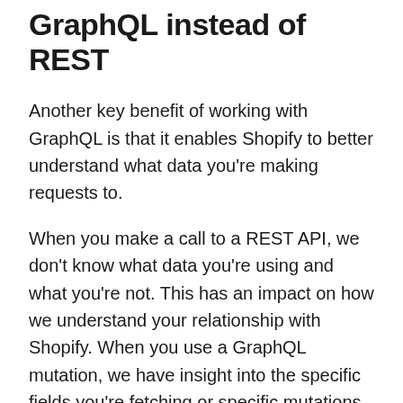GraphQL instead of REST
Another key benefit of working with GraphQL is that it enables Shopify to better understand what data you're making requests to.
When you make a call to a REST API, we don't know what data you're using and what you're not. This has an impact on how we understand your relationship with Shopify. When you use a GraphQL mutation, we have insight into the specific fields you're fetching or specific mutations you're making. That means that when a deprecation is coming, or a new product is being released that we need beta testers for,